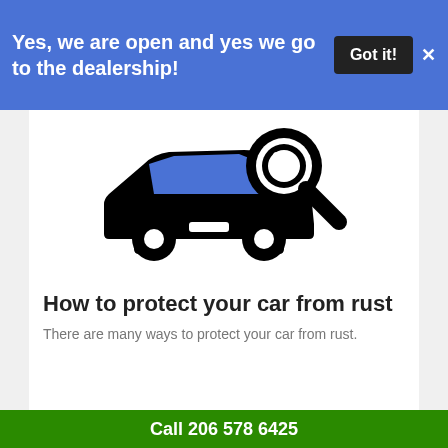Yes, we are open and yes we go to the dealership!
Got it!
[Figure (illustration): Car with magnifying glass icon in black silhouette style]
How to protect your car from rust
There are many ways to protect your car from rust.
Call 206 578 6425